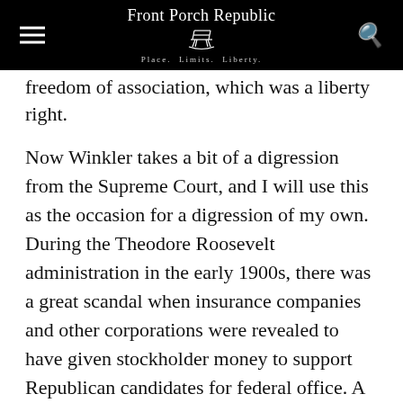Front Porch Republic Place. Limits. Liberty.
freedom of association, which was a liberty right.
Now Winkler takes a bit of a digression from the Supreme Court, and I will use this as the occasion for a digression of my own. During the Theodore Roosevelt administration in the early 1900s, there was a great scandal when insurance companies and other corporations were revealed to have given stockholder money to support Republican candidates for federal office. A Republican politician named Charles Evans Hughes made this discovery, and this launched a public career which would lead to Hughes being Chief Justice of the U.S. (more on this below). President Theodo-